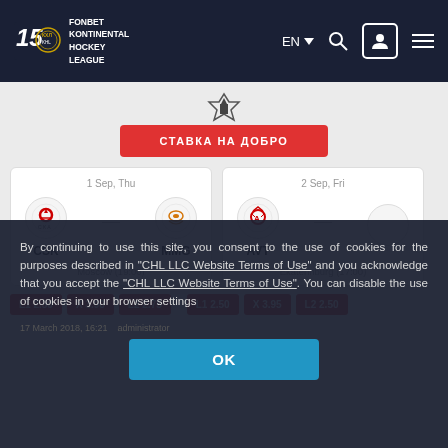FONBET KONTINENTAL HOCKEY LEAGUE | EN | (nav icons)
[Figure (logo): Fonbet / KHL 15th anniversary logo in top-left nav]
СТАВКА НА ДОБРО
1 Sep, Thu | CSK vs MMG | Moscow (19:00)
2 Sep, Fri | AVT vs (partially visible) | Ekaterinburg (17:00)
L1 2.30   X 3.90   L2 2.75
L1 2.50   X 3.95   L2 2.50
By continuing to use this site, you consent to the use of cookies for the purposes described in "CHL LLC Website Terms of Use" and you acknowledge that you accept the "CHL LLC Website Terms of Use". You can disable the use of cookies in your browser settings
OK
17 March 2018, 16:21   administrator